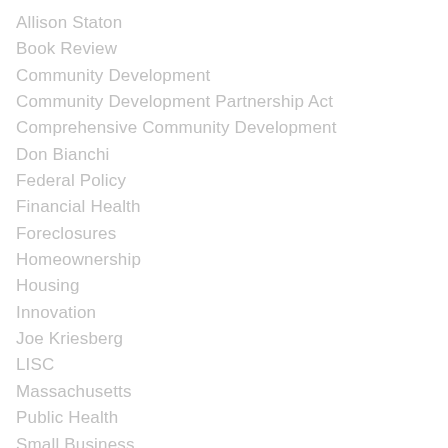Allison Staton
Book Review
Community Development
Community Development Partnership Act
Comprehensive Community Development
Don Bianchi
Federal Policy
Financial Health
Foreclosures
Homeownership
Housing
Innovation
Joe Kriesberg
LISC
Massachusetts
Public Health
Small Business
Smart Growth
Social Enterprise